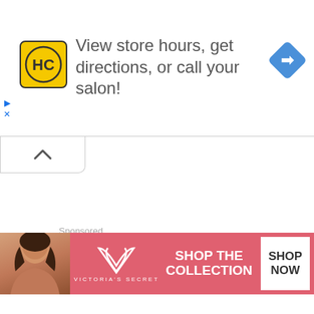[Figure (screenshot): Advertisement banner: HC (Hair Club) logo with yellow background and text 'View store hours, get directions, or call your salon!' with a blue navigation diamond icon on the right]
[Figure (screenshot): Collapse/accordion tab button with an up-caret chevron icon]
Sponsored
[Figure (photo): Partial interior room photo showing tan/beige wall and white ceiling, partially visible]
[Figure (screenshot): Victoria's Secret advertisement banner with pink background, model photo on left, VS logo in center, 'SHOP THE COLLECTION' text, and 'SHOP NOW' white button on right]